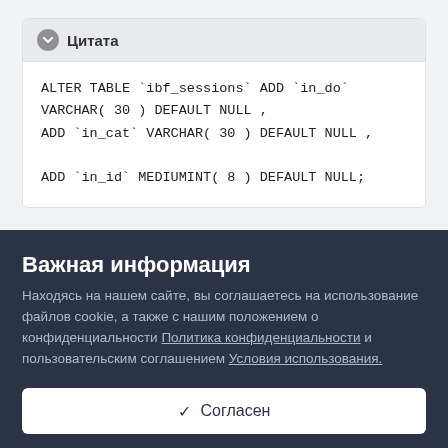Цитата
ALTER TABLE `ibf_sessions` ADD `in_do` VARCHAR( 30 ) DEFAULT NULL ,
ADD `in_cat` VARCHAR( 30 ) DEFAULT NULL ,

ADD `in_id` MEDIUMINT( 8 ) DEFAULT NULL;
Важная информация
Находясь на нашем сайте, вы соглашаетесь на использование файлов cookie, а также с нашим положением о конфиденциальности Политика конфиденциальности и пользовательским соглашением Условия использования.
✓ Согласен